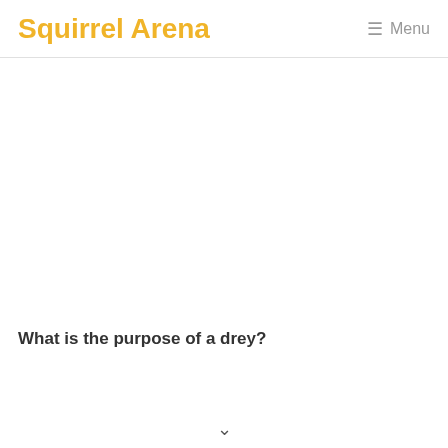Squirrel Arena  Menu
What is the purpose of a drey?